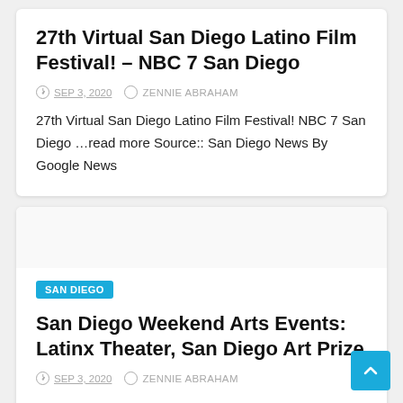27th Virtual San Diego Latino Film Festival! – NBC 7 San Diego
SEP 3, 2020   ZENNIE ABRAHAM
27th Virtual San Diego Latino Film Festival!  NBC 7 San Diego …read more Source:: San Diego News By Google News
SAN DIEGO
San Diego Weekend Arts Events: Latinx Theater, San Diego Art Prize
SEP 3, 2020   ZENNIE ABRAHAM